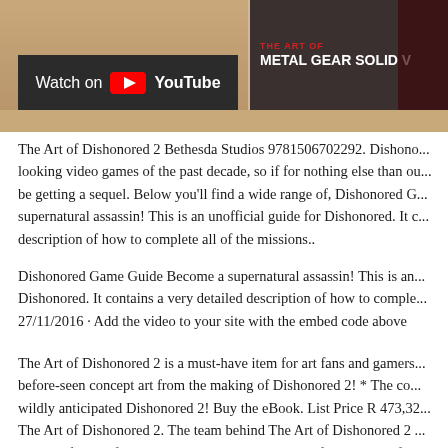[Figure (screenshot): YouTube thumbnail showing 'Watch on YouTube' button overlay on left side with dark background, and 'The Art of Metal Gear Solid V' text on right side with dark red/black background. A wooden surface texture is visible as a strip below.]
The Art of Dishonored 2 Bethesda Studios 9781506702292. Dishono... looking video games of the past decade, so if for nothing else than ou... be getting a sequel. Below you'll find a wide range of, Dishonored G... supernatural assassin! This is an unofficial guide for Dishonored. It c... description of how to complete all of the missions..
Dishonored Game Guide Become a supernatural assassin! This is an... Dishonored. It contains a very detailed description of how to comple... 27/11/2016 · Add the video to your site with the embed code above
The Art of Dishonored 2 is a must-have item for art fans and gamers... before-seen concept art from the making of Dishonored 2! * The co... wildly anticipated Dishonored 2! Buy the eBook. List Price R 473,32... The Art of Dishonored 2. The team behind The Art of Dishonored 2 ... creating fine art for games, according to the wonderfully concise fo...